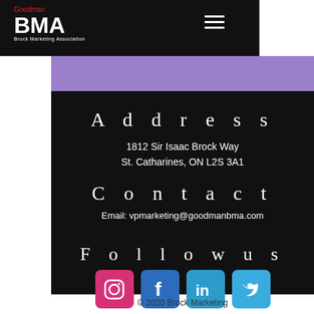[Figure (logo): Goodman BMA Brock Marketing Association logo with red and white text on black background]
A d d r e s s
1812 Sir Isaac Brock Way
St. Catharines, ON L2S 3A1
C o n t a c t
Email: vpmarketing@goodmanbma.com
F o l l o w  u s
[Figure (illustration): Four social media icons: Instagram (pink), Facebook (blue), LinkedIn (light blue), Twitter (light blue)]
© 2020 Brock Marketing